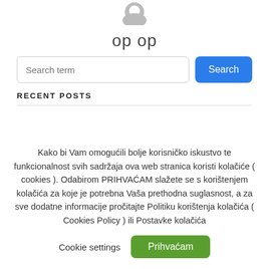[Figure (illustration): Generic user avatar icon (gray silhouette of a person)]
op op
Search term
RECENT POSTS
Kako bi Vam omogućili bolje korisničko iskustvo te funkcionalnost svih sadržaja ova web stranica koristi kolačiće ( cookies ). Odabirom PRIHVAĆAM slažete se s korištenjem kolačića za koje je potrebna Vaša prethodna suglasnost, a za sve dodatne informacije pročitajte Politiku korištenja kolačića ( Cookies Policy ) ili Postavke kolačića
Cookie settings | Prihvaćam